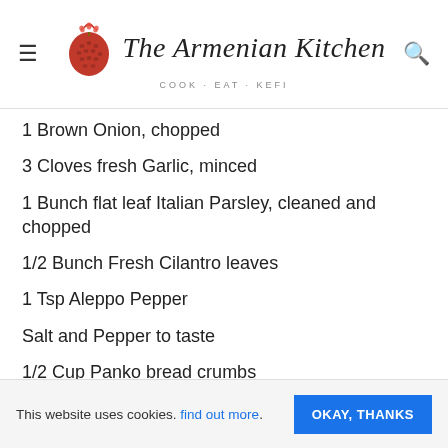The Armenian Kitchen — COOK · EAT · KEFI
1 Brown Onion, chopped
3 Cloves fresh Garlic, minced
1 Bunch flat leaf Italian Parsley, cleaned and chopped
1/2 Bunch Fresh Cilantro leaves
1 Tsp Aleppo Pepper
Salt and Pepper to taste
1/2 Cup Panko bread crumbs
Directions:
In a bowl of the food processor, mix together the
This website uses cookies. find out more. OKAY, THANKS